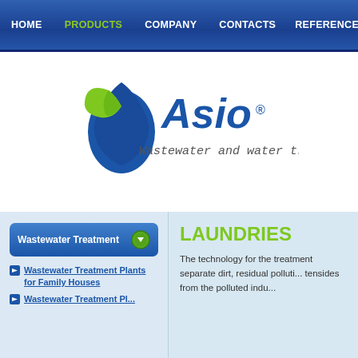HOME  PRODUCTS  COMPANY  CONTACTS  REFERENCES
[Figure (logo): Asio logo with leaf/water droplet icon and tagline 'Wastewater and water treatment']
Wastewater Treatment
Wastewater Treatment Plants for Family Houses
Wastewater Treatment Pl...
LAUNDRIES
The technology for the treatment separate dirt, residual polluti... tensides from the polluted indu...